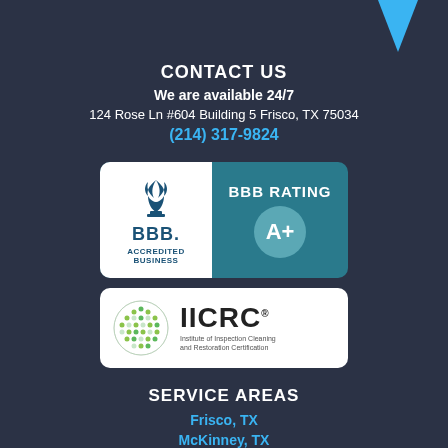[Figure (illustration): Blue/white chevron arrow pointing down, top-right corner]
CONTACT US
We are available 24/7
124 Rose Ln #604 Building 5 Frisco, TX 75034
(214) 317-9824
[Figure (logo): BBB Accredited Business badge with BBB logo on white left panel and A+ rating on teal right panel]
[Figure (logo): IICRC logo badge - Institute of Inspection Cleaning and Restoration Certification on white background with globe icon]
SERVICE AREAS
Frisco, TX
McKinney, TX